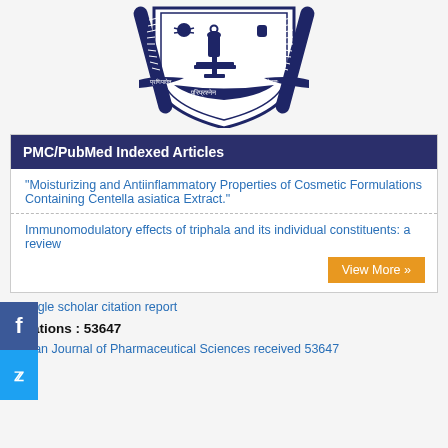[Figure (logo): Institutional crest/shield logo with Sanskrit text on banners: प्रणिपातेन, परिप्रश्नेन, सेवयाः and scientific imagery including microscope]
PMC/PubMed Indexed Articles
"Moisturizing and Antiinflammatory Properties of Cosmetic Formulations Containing Centella asiatica Extract."
Immunomodulatory effects of triphala and its individual constituents: a review
View More »
Google scholar citation report
Citations : 53647
Indian Journal of Pharmaceutical Sciences received 53647